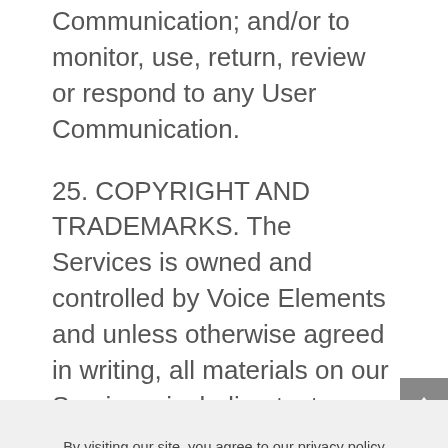Communication; and/or to monitor, use, return, review or respond to any User Communication.
25. COPYRIGHT AND TRADEMARKS. The Services is owned and controlled by Voice Elements and unless otherwise agreed in writing, all materials on our Services, including text, menus, graphics, information, content, images, illustrations, designs, icons,
By visiting our site, you agree to our privacy policy regarding cookies, tracking statistics, etc. Read more
Accept  X